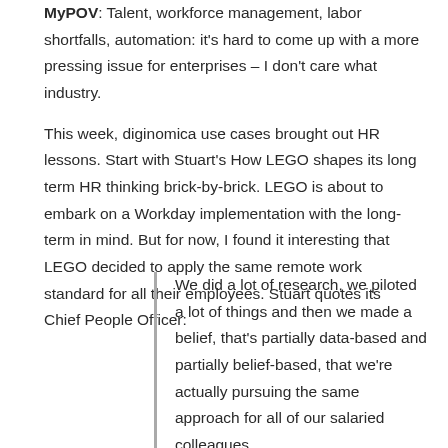MyPOV: Talent, workforce management, labor shortfalls, automation: it's hard to come up with a more pressing issue for enterprises – I don't care what industry.
This week, diginomica use cases brought out HR lessons. Start with Stuart's How LEGO shapes its long term HR thinking brick-by-brick. LEGO is about to embark on a Workday implementation with the long-term in mind. But for now, I found it interesting that LEGO decided to apply the same remote work standard for all their employees. Stuart quotes its Chief People Officer:
We did a lot of research, we piloted a lot of things and then we made a belief, that's partially data-based and partially belief-based, that we're actually pursuing the same approach for all of our salaried colleagues.

So, there is trust in the system for teams to